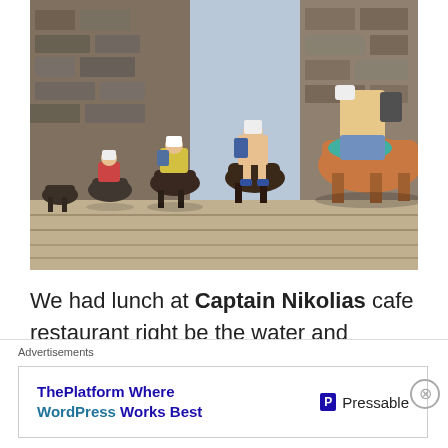[Figure (photo): Tourists riding donkeys in a line on stone steps in Santorini, Greece. Several riders visible wearing colorful clothing and hats, stone walls in background.]
We had lunch at Captain Nikolias cafe restaurant right be the water and watched the shuttle boats ferrying people to and from the huge behemoth cruisers. I had a pork
Advertisements
ThePlatform Where WordPress Works Best — Pressable